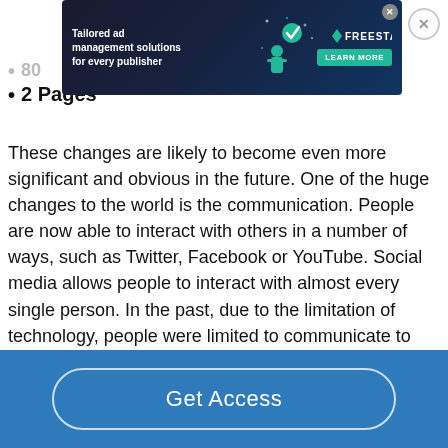[Figure (screenshot): Advertisement banner for Freesta: 'Tailored ad management solutions for every publisher' with dark space-themed background, green figure illustration, teal Learn More button, and Freesta logo with triangular icon. Close X button in top-right corner of ad.]
80
2 Pages
These changes are likely to become even more significant and obvious in the future. One of the huge changes to the world is the communication. People are now able to interact with others in a number of ways, such as Twitter, Facebook or YouTube. Social media allows people to interact with almost every single person. In the past, due to the limitation of technology, people were limited to communicate to those who they personally already knew; nowadays people can interact with different people from all around the world....
Get Access